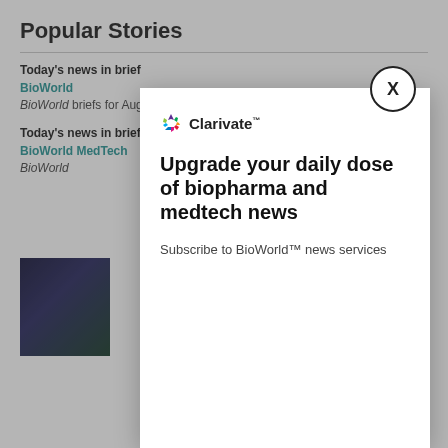Popular Stories
Today's news in brief
BioWorld
BioWorld briefs for Aug. 18, 2022.
Today's news in brief
BioWorld MedTech
BioWorld...
[Figure (screenshot): Clarivate advertisement modal overlay with logo, headline 'Upgrade your daily dose of biopharma and medtech news', and text 'Subscribe to BioWorld™ news services'. Modal has a close (X) button.]